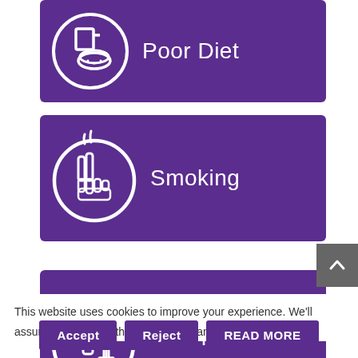[Figure (infographic): Purple card with white circle icon showing food/drink (cup and bread) labeled 'Poor Diet']
[Figure (infographic): Purple card with white circle icon showing hand holding cigarette with smoke labeled 'Smoking']
[Figure (infographic): Purple card with white circle icon showing bottle and wine glass labeled 'Alcohol']
This website uses cookies to improve your experience. We'll assume you're ok with this, but you can opt-out if you wish.
Accept
Reject
READ MORE